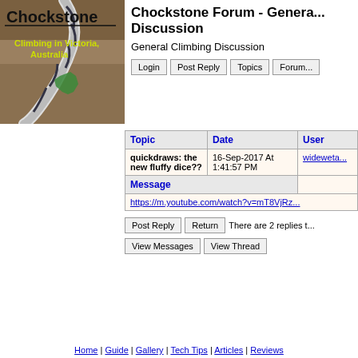[Figure (logo): Chockstone logo with rope image and text 'Climbing in Victoria, Australia' with map of Australia]
Chockstone Forum - General Discussion
General Climbing Discussion
| Topic | Date | User |
| --- | --- | --- |
| quickdraws: the new fluffy dice?? | 16-Sep-2017 At 1:41:57 PM | wideweta... |
Message
https://m.youtube.com/watch?v=mT8VjRz...
There are 2 replies to...
Home | Guide | Gallery | Tech Tips | Articles | Reviews